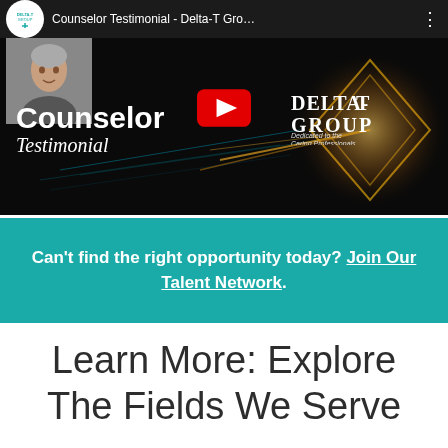[Figure (screenshot): YouTube video thumbnail for 'Counselor Testimonial - Delta-T Group' showing a man's photo, play button, 'Counselor Testimonial' text overlay, and Delta-T Group logo on a dark background with golden light effects.]
Can't find the right opportunity today? Join Our Talent Network.
Learn More: Explore The Fields We Serve